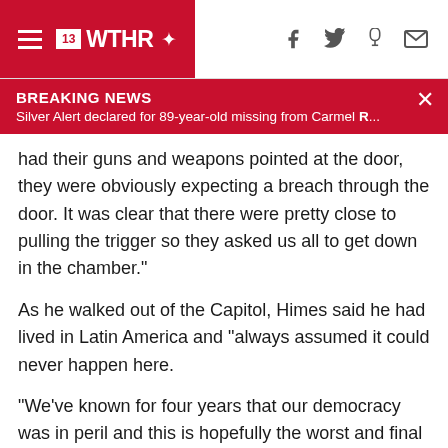13 WTHR
BREAKING NEWS
Silver Alert declared for 89-year-old missing from Carmel R...
had their guns and weapons pointed at the door, they were obviously expecting a breach through the door. It was clear that there were pretty close to pulling the trigger so they asked us all to get down in the chamber."
As he walked out of the Capitol, Himes said he had lived in Latin America and “always assumed it could never happen here.
“We’ve known for four years that our democracy was in peril and this is hopefully the worst and final moment of it,” Himes said. “But with a president egging these people on, with the Republicans doing all they can to try to make people feel like their democracy has been taken away from them even though they’re the ones doing the taking, it’s really hard, really sad. I spent my entire political career reaching out to the other side. And it’s really hard to see